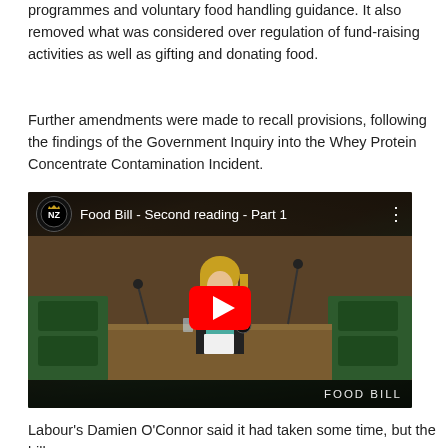programmes and voluntary food handling guidance. It also removed what was considered over regulation of fund-raising activities as well as gifting and donating food.
Further amendments were made to recall provisions, following the findings of the Government Inquiry into the Whey Protein Concentrate Contamination Incident.
[Figure (screenshot): YouTube video thumbnail showing 'Food Bill - Second reading - Part 1' with NZ government logo, a woman speaking at a parliament podium in a green-seated chamber, with a red YouTube play button overlay and 'FOOD BILL' text in the bottom-right corner.]
Labour's Damien O'Connor said it had taken some time, but the bill